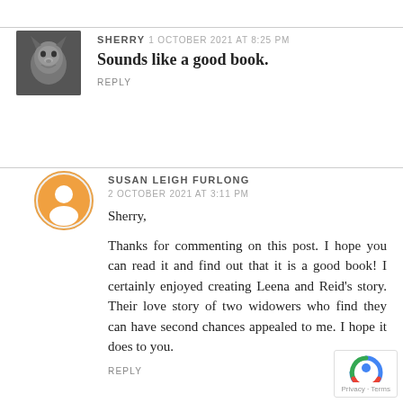SHERRY 1 OCTOBER 2021 AT 8:25 PM
Sounds like a good book.
REPLY
SUSAN LEIGH FURLONG
2 OCTOBER 2021 AT 3:11 PM
Sherry,

Thanks for commenting on this post. I hope you can read it and find out that it is a good book! I certainly enjoyed creating Leena and Reid’s story. Their love story of two widowers who find they can have second chances appealed to me. I hope it does to you.
REPLY